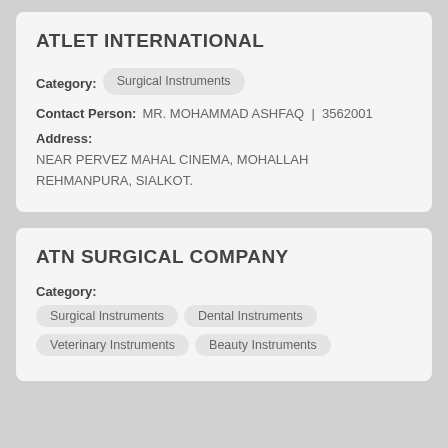ATLET INTERNATIONAL
Category: Surgical Instruments
Contact Person: MR. MOHAMMAD ASHFAQ | 3562001
Address: NEAR PERVEZ MAHAL CINEMA, MOHALLAH REHMANPURA, SIALKOT.
ATN SURGICAL COMPANY
Category: Surgical Instruments, Dental Instruments, Veterinary Instruments, Beauty Instruments